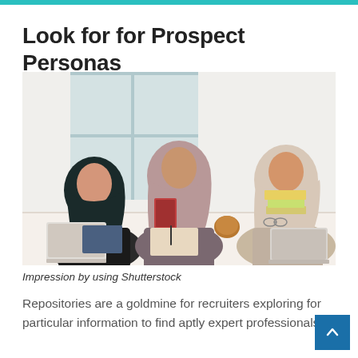Look for for Prospect Personas
[Figure (photo): Three Muslim women wearing hijabs sitting around a table, with laptops and books, working together in an office or meeting setting with a window in the background.]
Impression by using Shutterstock
Repositories are a goldmine for recruiters exploring for particular information to find aptly expert professionals.